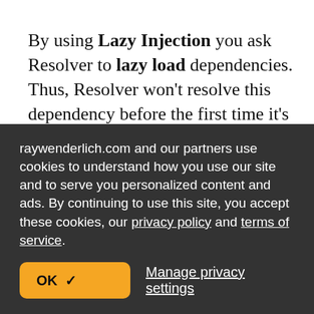By using Lazy Injection you ask Resolver to lazy load dependencies. Thus, Resolver won't resolve this dependency before the first time it's used.
You need to use @LazyInjected here because the dependencies aren't available when the class is initiated as you registered them in setup().
Now everything is ready for you to write your first
raywenderlich.com and our partners use cookies to understand how you use our site and to serve you personalized content and ads. By continuing to use this site, you accept these cookies, our privacy policy and terms of service.